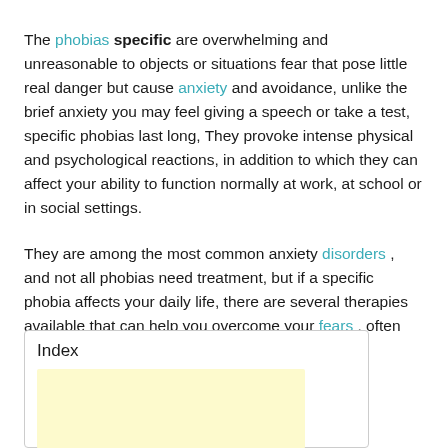The phobias specific are overwhelming and unreasonable to objects or situations fear that pose little real danger but cause anxiety and avoidance, unlike the brief anxiety you may feel giving a speech or take a test, specific phobias last long, They provoke intense physical and psychological reactions, in addition to which they can affect your ability to function normally at work, at school or in social settings.
They are among the most common anxiety disorders , and not all phobias need treatment, but if a specific phobia affects your daily life, there are several therapies available that can help you overcome your fears , often permanently.
Index